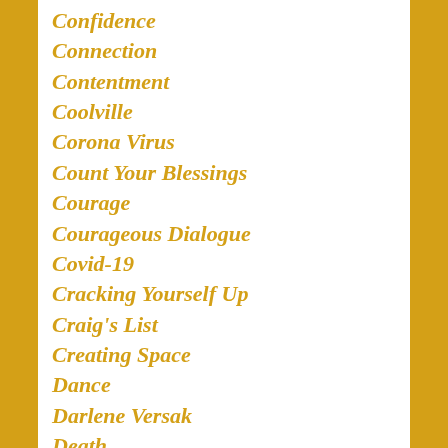Confidence
Connection
Contentment
Coolville
Corona Virus
Count Your Blessings
Courage
Courageous Dialogue
Covid-19
Cracking Yourself Up
Craig's List
Creating Space
Dance
Darlene Versak
Death
Decade Of Drama
Decorating
Delays